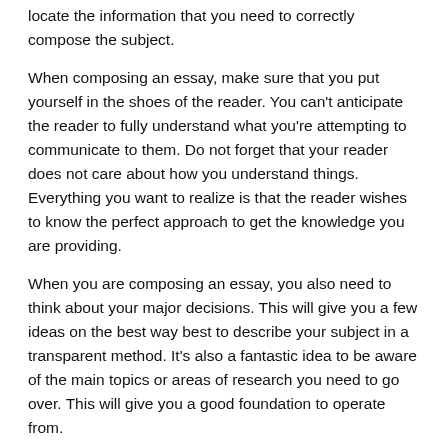locate the information that you need to correctly compose the subject.
When composing an essay, make sure that you put yourself in the shoes of the reader. You can't anticipate the reader to fully understand what you're attempting to communicate to them. Do not forget that your reader does not care about how you understand things. Everything you want to realize is that the reader wishes to know the perfect approach to get the knowledge you are providing.
When you are composing an essay, you also need to think about your major decisions. This will give you a few ideas on the best way best to describe your subject in a transparent method. It's also a fantastic idea to be aware of the main topics or areas of research you need to go over. This will give you a good foundation to operate from.
The final thing you need to consider when you are composing an essay is the own style. Though your style is different from what others do, attempt to ensure it is